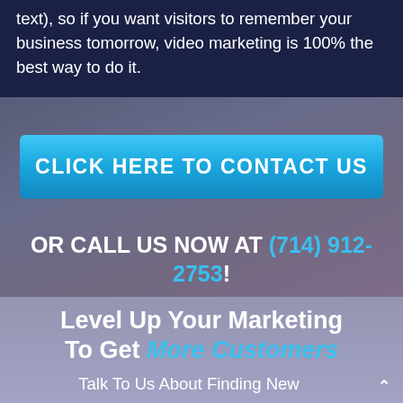text), so if you want visitors to remember your business tomorrow, video marketing is 100% the best way to do it.
CLICK HERE TO CONTACT US
OR CALL US NOW AT (714) 912-2753!
Level Up Your Marketing To Get More Customers
Talk To Us About Finding New